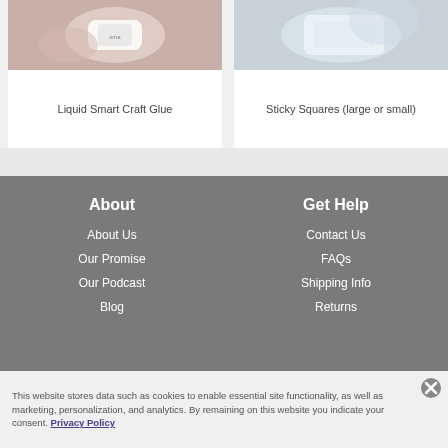[Figure (photo): Hand holding a Liquid Smart Craft Glue tube]
Liquid Smart Craft Glue
[Figure (photo): Person holding Sticky Squares product]
Sticky Squares (large or small)
About
About Us
Our Promise
Our Podcast
Blog
Get Help
Contact Us
FAQs
Shipping Info
Returns
This website stores data such as cookies to enable essential site functionality, as well as marketing, personalization, and analytics. By remaining on this website you indicate your consent. Privacy Policy